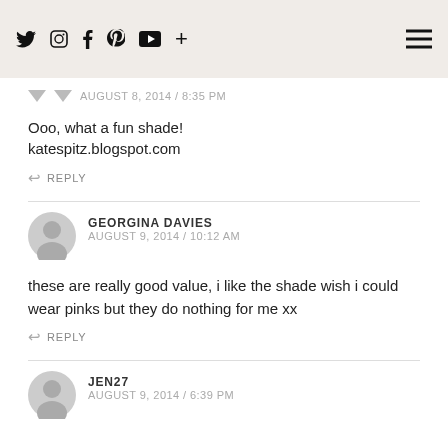social icons and hamburger menu
AUGUST 8, 2014 / 8:35 PM
Ooo, what a fun shade!
katespitz.blogspot.com
REPLY
GEORGINA DAVIES
AUGUST 9, 2014 / 10:12 AM
these are really good value, i like the shade wish i could wear pinks but they do nothing for me xx
REPLY
JEN27
AUGUST 9, 2014 / 6:39 PM